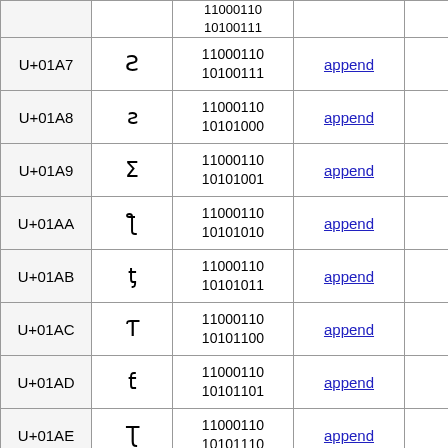| Code | Char | Binary | Action |  |
| --- | --- | --- | --- | --- |
| U+01A7 | Ƨ | 11000110 10100111 | append |  |
| U+01A8 | ƨ | 11000110 10101000 | append |  |
| U+01A9 | Ʃ | 11000110 10101001 | append |  |
| U+01AA | ƪ | 11000110 10101010 | append |  |
| U+01AB | ƫ | 11000110 10101011 | append |  |
| U+01AC | Ƭ | 11000110 10101100 | append |  |
| U+01AD | ƭ | 11000110 10101101 | append |  |
| U+01AE | Ʈ | 11000110 10101110 | append |  |